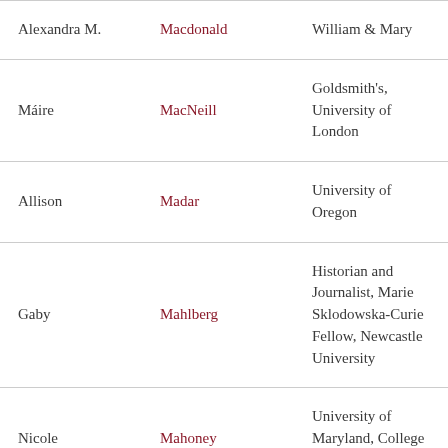| First Name | Last Name | Institution |
| --- | --- | --- |
| Alexandra M. | Macdonald | William & Mary |
| Máire | MacNeill | Goldsmith's, University of London |
| Allison | Madar | University of Oregon |
| Gaby | Mahlberg | Historian and Journalist, Marie Sklodowska-Curie Fellow, Newcastle University |
| Nicole | Mahoney | University of Maryland, College Park |